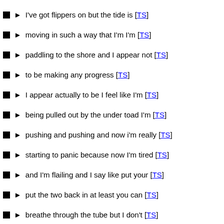I've got flippers on but the tide is [TS]
moving in such a way that I'm I'm [TS]
paddling to the shore and I appear not [TS]
to be making any progress [TS]
I appear actually to be I feel like I'm [TS]
being pulled out by the under toad I'm [TS]
pushing and pushing and now i'm really [TS]
starting to panic because now I'm tired [TS]
and I'm flailing and I say like put your [TS]
put the two back in at least you can [TS]
breathe through the tube but I don't [TS]
[TS]